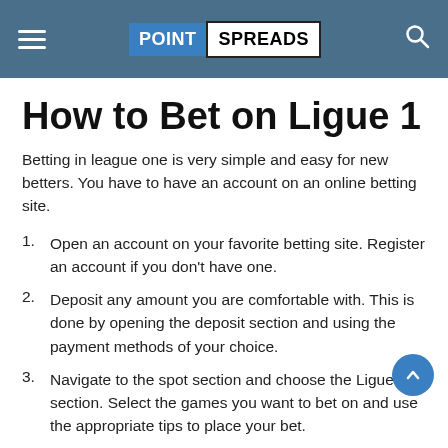POINT SPREADS
How to Bet on Ligue 1
Betting in league one is very simple and easy for new betters. You have to have an account on an online betting site.
1. Open an account on your favorite betting site. Register an account if you don't have one.
2. Deposit any amount you are comfortable with. This is done by opening the deposit section and using the payment methods of your choice.
3. Navigate to the spot section and choose the Ligue 1 section. Select the games you want to bet on and use the appropriate tips to place your bet.
4. Select the amount of stake you wish to use and place the